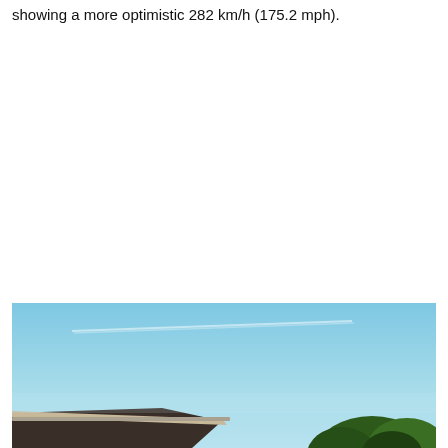showing a more optimistic 282 km/h (175.2 mph).
[Figure (photo): Outdoor photograph showing a light blue sky with a faint white vapor trail or contrail. In the lower portion, the edge of a building roofline with a dark roof and light fascia is visible on the left, and green tree foliage appears in the lower right corner.]